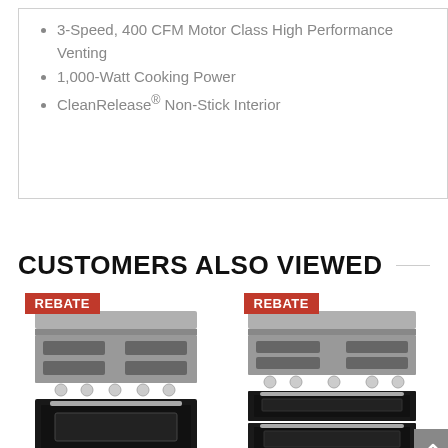3-Speed, 400 CFM Motor Class High Performance Venting
1,000-Watt Cooking Power
CleanRelease® Non-Stick Interior
CUSTOMERS ALSO VIEWED
[Figure (photo): Stainless steel gas range/stove with REBATE badge, left product card]
[Figure (photo): Stainless steel gas double oven range with REBATE badge, right product card]